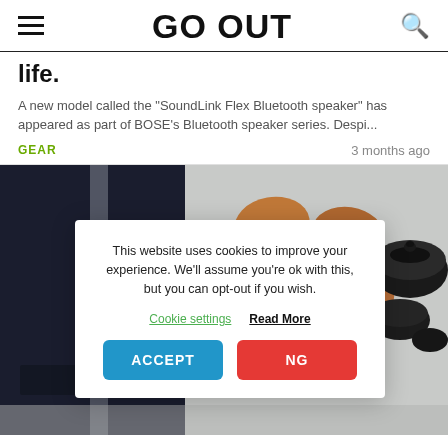GO OUT
life.
A new model called the "SoundLink Flex Bluetooth speaker" has appeared as part of BOSE's Bluetooth speaker series. Despi...
GEAR   3 months ago
[Figure (photo): Composite product photo showing a dark navy jacket on the left, wooden shoe lasts in the center, and black lacquered bowls/containers on the right, on a light gray background.]
This website uses cookies to improve your experience. We'll assume you're ok with this, but you can opt-out if you wish.
Cookie settings   Read More
ACCEPT   NG